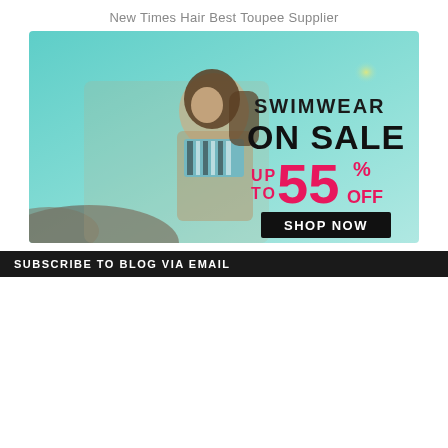New Times Hair Best Toupee Supplier
[Figure (photo): Swimwear sale advertisement banner showing a woman in a striped bikini with text: SWIMWEAR ON SALE UP TO 55% OFF and a SHOP NOW button]
SUBSCRIBE TO BLOG VIA EMAIL
This website uses cookies to improve your experience. We'll assume you're ok with this, but you can opt-out if you wish.
Accept  Read More